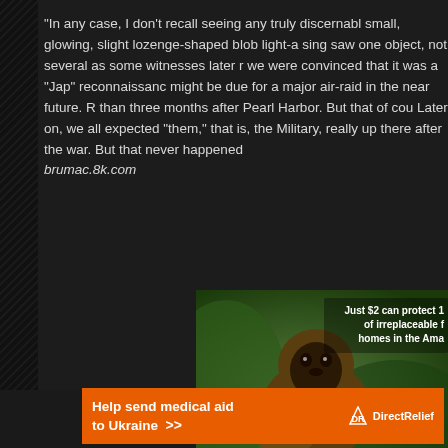"In any case, I don't recall seeing any truly discernable small, glowing, slight lozenge-shaped blob light-a sing saw one object, not several as some witnesses later r we were convinced that it was a "Jap" reconnaissanc might be due for a major air-raid in the near future. Re than three months after Pearl Harbor. But that of cour Later on, we all expected "them," that is, the Military, really up there after the war. But that never happened. brumac.8k.com
[Figure (photo): Wildlife advertisement showing two primates (likely capuchin monkeys) with text overlay: 'Just $2 can protect 1 of irreplaceable f homes in the Ama']
[Figure (infographic): Orange banner advertisement: 'Help send medical aid to Ukraine >>' with Direct Relief logo on the right]